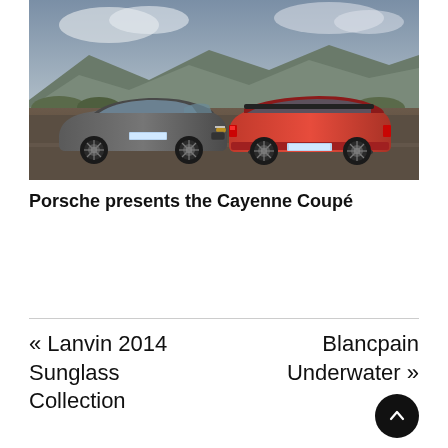[Figure (photo): Two Porsche Cayenne Coupé vehicles parked on a road with mountains and cloudy sky in the background. One is dark grey/graphite facing forward-left, the other is orange/red facing away to the right.]
Porsche presents the Cayenne Coupé
« Lanvin 2014 Sunglass Collection
Blancpain Underwater »